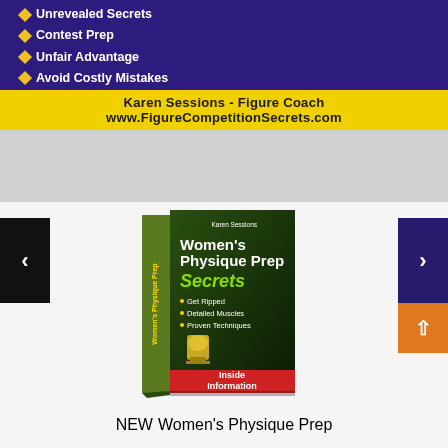[Figure (illustration): Dark purple/blue banner with bullet list: Unrevealed Secrets, Contest Prep, Unfair Advantage, Avoid Costly Mistakes. Yellow bottom bar with text: Karen Sessions - Figure Coach, www.FigureCompetitionSecrets.com. A female figure competitor visible on right side.]
[Figure (photo): Book cover for Women's Physique Prep Secrets by Karen Sessions, showing a trophy and female bodybuilder, with text: Get Ripped, Detailed Muscles, Proven Techniques, Inside Information. Navigation arrows on left and right sides.]
NEW Women's Physique Prep